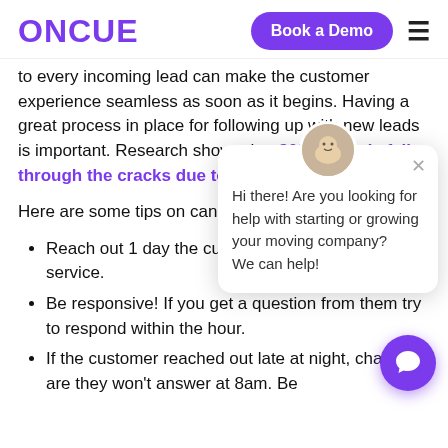ONCUE | Book a Demo | ☰
to every incoming lead can make the customer experience seamless as soon as it begins. Having a great process in place for following up with new leads is important. Research shows that 80% of leads fall through the cracks due to lack of proper follow up.
Here are some tips on... can help you book m...
Reach out 1 day ... the customer. U... and clarify any d... service.
Be responsive! If you get a question from them try to respond within the hour.
If the customer reached out late at night, chances are they won't answer at 8am. Be
[Figure (screenshot): Chat widget popup with avatar, close button, and message: 'Hi there! Are you looking for help with starting or growing your moving company? We can help!']
[Figure (illustration): Purple circular floating chat button with speech bubble icon]